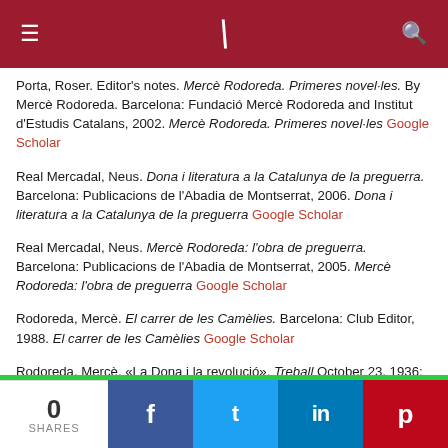≡ ) 🔍
Porta, Roser. Editor's notes. Mercè Rodoreda. Primeres novel·les. By Mercè Rodoreda. Barcelona: Fundació Mercè Rodoreda and Institut d'Estudis Catalans, 2002. Mercè Rodoreda. Primeres novel·les Google Scholar
Real Mercadal, Neus. Dona i literatura a la Catalunya de la preguerra. Barcelona: Publicacions de l'Abadia de Montserrat, 2006. Dona i literatura a la Catalunya de la preguerra Google Scholar
Real Mercadal, Neus. Mercè Rodoreda: l'obra de preguerra. Barcelona: Publicacions de l'Abadia de Montserrat, 2005. Mercè Rodoreda: l'obra de preguerra Google Scholar
Rodoreda, Mercè. El carrer de les Camèlies. Barcelona: Club Editor, 1988. El carrer de les Camèlies Google Scholar
Rodoreda, Mercè. «La Dona i la revolució». Treball October 23, 1936: 4. «La Dona i la revolució». Treball 4 Google Scholar
0 SHARES | f | 🐦 | in | P